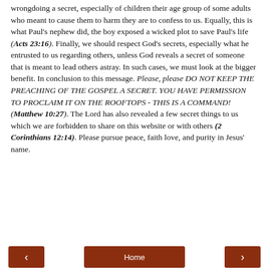wrongdoing a secret, especially of children their age group of some adults who meant to cause them to harm they are to confess to us. Equally, this is what Paul's nephew did, the boy exposed a wicked plot to save Paul's life (Acts 23:16). Finally, we should respect God's secrets, especially what he entrusted to us regarding others, unless God reveals a secret of someone that is meant to lead others astray. In such cases, we must look at the bigger benefit. In conclusion to this message. Please, please DO NOT KEEP THE PREACHING OF THE GOSPEL A SECRET. YOU HAVE PERMISSION TO PROCLAIM IT ON THE ROOFTOPS - THIS IS A COMMAND! (Matthew 10:27). The Lord has also revealed a few secret things to us which we are forbidden to share on this website or with others (2 Corinthians 12:14). Please pursue peace, faith love, and purity in Jesus' name.
[Figure (other): Share button on a beige/tan background panel]
[Figure (other): Navigation bar with previous arrow button, Home button, and next arrow button, all in dark red/brown color]